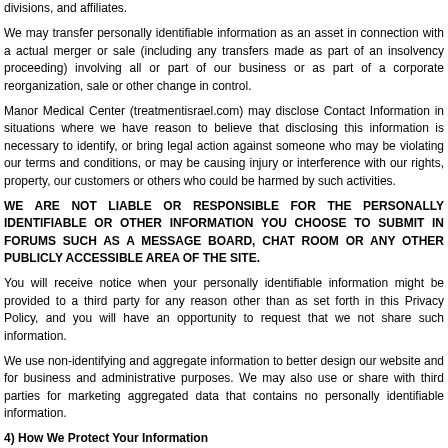divisions, and affiliates.
We may transfer personally identifiable information as an asset in connection with a actual merger or sale (including any transfers made as part of an insolvency proceeding) involving all or part of our business or as part of a corporate reorganization, sale or other change in control.
Manor Medical Center (treatmentisrael.com) may disclose Contact Information in situations where we have reason to believe that disclosing this information is necessary to identify, or bring legal action against someone who may be violating our terms and conditions, or may be causing injury or interference with our rights, property, our customers or others who could be harmed by such activities.
WE ARE NOT LIABLE OR RESPONSIBLE FOR THE PERSONALLY IDENTIFIABLE OR OTHER INFORMATION YOU CHOOSE TO SUBMIT IN FORUMS SUCH AS A MESSAGE BOARD, CHAT ROOM OR ANY OTHER PUBLICLY ACCESSIBLE AREA OF THE SITE.
You will receive notice when your personally identifiable information might be provided to a third party for any reason other than as set forth in this Privacy Policy, and you will have an opportunity to request that we not share such information.
We use non-identifying and aggregate information to better design our website and for business and administrative purposes. We may also use or share with third parties for marketing aggregated data that contains no personally identifiable information.
4) How We Protect Your Information